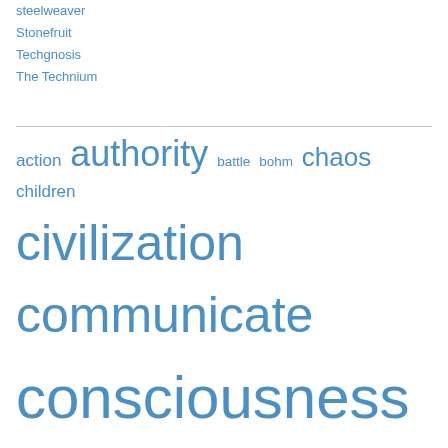steelweaver
Stonefruit
Techgnosis
The Technium
[Figure (infographic): Tag cloud with words in varying font sizes, all in blue: action, authority, battle, bohm, chaos, children, civilization, communicate, consciousness, cosmic, cosmos, creation, death, demon, Earth, energy, enlightenment, evolution, exile, force, free, freedom, frontier, infinite, karma, krishnamurti, learn, love, master, matter, mind, nature, nothing]